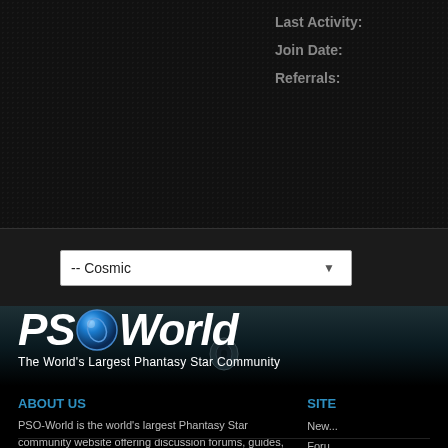Last Activity:
Join Date:
Referrals:
[Figure (screenshot): Dropdown selector with '-- Cosmic' option selected, white background with dropdown arrow]
ABOUT US
PSO-World is the world's largest Phantasy Star community website offering discussion forums, guides, and news for online Phantasy Star games.
SITE
News
Foru...
Galle...
[Figure (logo): PSO-World logo with stylized text 'PSOWorld' featuring a blue spherical orb as the O in PSO, with tagline 'The World's Largest Phantasy Star Community']